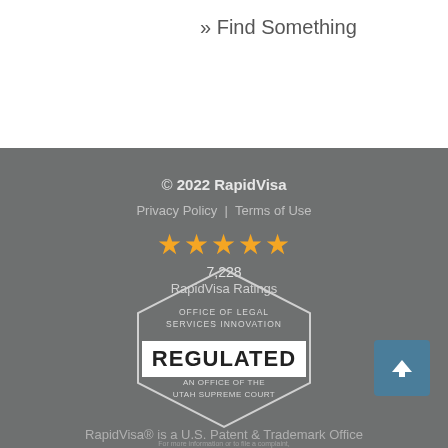» Find Something
© 2022 RapidVisa
Privacy Policy | Terms of Use
[Figure (other): Five orange stars rating display]
7,228
RapidVisa Ratings
[Figure (other): Office of Legal Services Innovation hexagonal badge reading REGULATED, An Office of the Utah Supreme Court]
For more information or to file a complaint, please visit innovationoffice.org
RapidVisa® is a U.S. Patent & Trademark Office